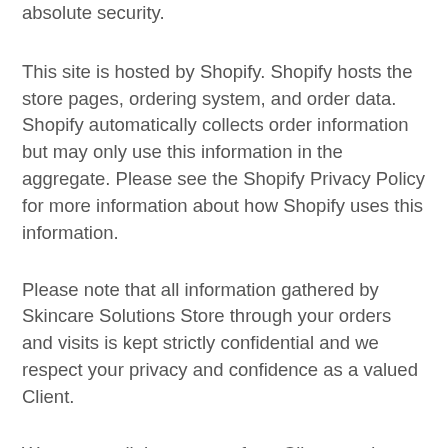absolute security.
This site is hosted by Shopify. Shopify hosts the store pages, ordering system, and order data. Shopify automatically collects order information but may only use this information in the aggregate. Please see the Shopify Privacy Policy for more information about how Shopify uses this information.
Please note that all information gathered by Skincare Solutions Store through your orders and visits is kept strictly confidential and we respect your privacy and confidence as a valued Client.
We never sell the names of our Clients and we destroy all of our records of your credit card information after your order is processed and service is completed.